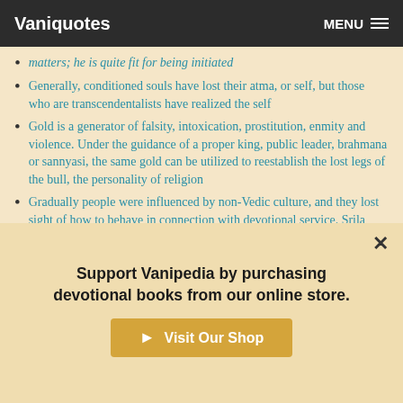Vaniquotes  MENU
matters; he is quite fit for being initiated
Generally, conditioned souls have lost their atma, or self, but those who are transcendentalists have realized the self
Gold is a generator of falsity, intoxication, prostitution, enmity and violence. Under the guidance of a proper king, public leader, brahmana or sannyasi, the same gold can be utilized to reestablish the lost legs of the bull, the personality of religion
Gradually people were influenced by non-Vedic culture, and they lost sight of how to behave in connection with devotional service. Srila Rupa Gosvami and Sanatana
Support Vanipedia by purchasing devotional books from our online store.
Visit Our Shop